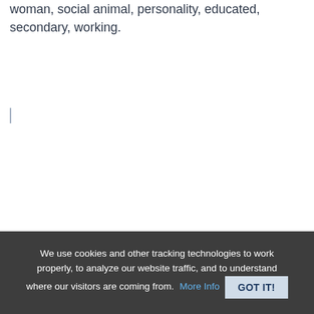woman, social animal, personality, educated, secondary, working.
We use cookies and other tracking technologies to work properly, to analyze our website traffic, and to understand where our visitors are coming from. More Info GOT IT!